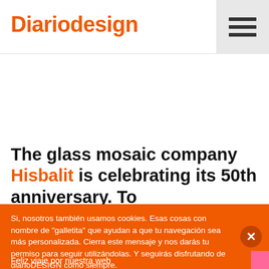Diariodesign
The glass mosaic company Hisbalit is celebrating its 50th anniversary. To commemorate such important date, the Spanish brand is not only launching a new collection inspired by Le Corbusier is now on show at CasaDecor event in Madrid, a retrospective of decades inspired by
Si, nosotros también usamos cookies. Esas cosas con nombre de "galletita" que ayudan a que tu navegación sea más personalizada. Cierra este mensaje y nos darás tu permiso para seguir utilizándolas. Y seguirás disfrutando de diarioDESIGN como siempre.

Feliz viaje por nuestra web